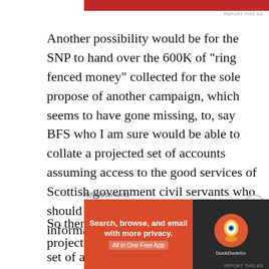[Figure (other): Red advertisement banner at top of page]
Another possibility would be for the SNP to hand over the 600K of “ring fenced money” collected for the sole propose of another campaign, which seems to have gone missing, to, say BFS who I am sure would be able to collate a projected set of accounts assuming access to the good services of Scottish government civil servants who should be able to provide all necessary information.
So there we have it , dead simple, a projected
[Figure (screenshot): DuckDuckGo advertisement banner: Search, browse, and email with more privacy. All in One Free App. DuckDuckGo logo on dark background.]